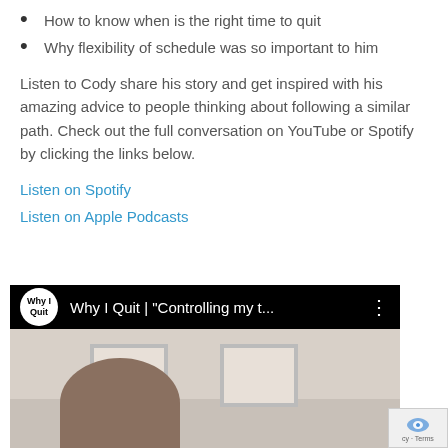How to know when is the right time to quit
Why flexibility of schedule was so important to him
Listen to Cody share his story and get inspired with his amazing advice to people thinking about following a similar path. Check out the full conversation on YouTube or Spotify by clicking the links below.
Listen on Spotify
Listen on Apple Podcasts
[Figure (screenshot): YouTube video embed showing 'Why I Quit | "Controlling my t..."' with the Why I Quit channel logo (white circle with black text), video title in white on black background, and a thumbnail showing a person in front of white doors/panels]